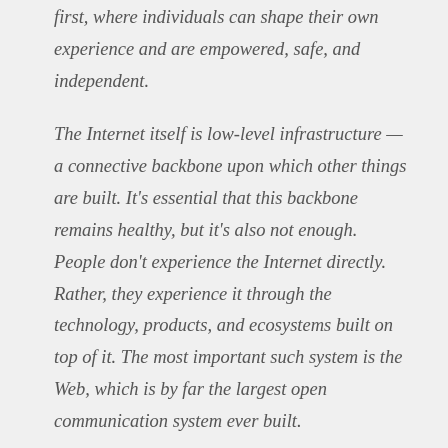first, where individuals can shape their own experience and are empowered, safe, and independent.
The Internet itself is low-level infrastructure — a connective backbone upon which other things are built. It's essential that this backbone remains healthy, but it's also not enough. People don't experience the Internet directly. Rather, they experience it through the technology, products, and ecosystems built on top of it. The most important such system is the Web, which is by far the largest open communication system ever built.